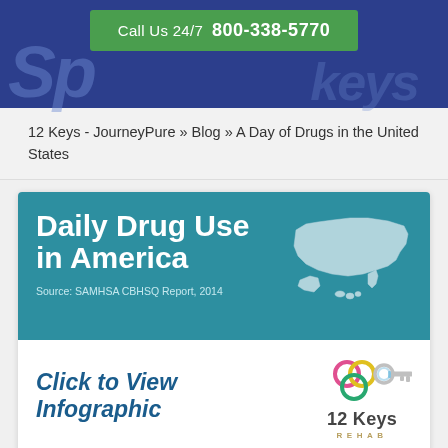Call Us 24/7 800-338-5770
12 Keys - JourneyPure » Blog » A Day of Drugs in the United States
[Figure (infographic): Daily Drug Use in America infographic banner with teal background, large white bold title text, US map silhouette, and source attribution: SAMHSA CBHSQ Report, 2014. Below: Click to View Infographic text in dark blue italic, and 12 Keys Rehab logo with colored rings key icon.]
Click to View Infographic